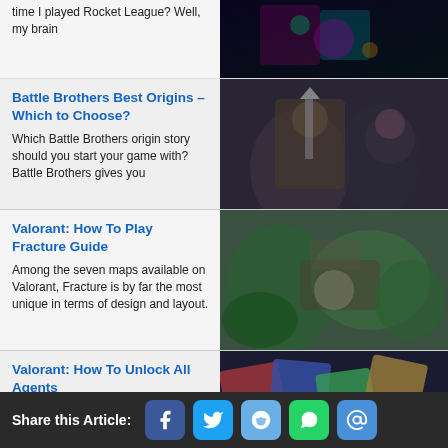time I played Rocket League?  Well, my brain
[Figure (photo): Dark gaming screenshot with colorful neon lights]
Battle Brothers Best Origins – Which to Choose?
Which Battle Brothers origin story should you start your game with? Battle Brothers gives you
[Figure (photo): Battle Brothers game art with armored warriors]
Valorant: How To Play Fracture Guide
Among the seven maps available on Valorant, Fracture is by far the most unique in terms of design and layout.
[Figure (photo): Valorant Fracture map aerial view with green foliage]
Valorant: How To Unlock All Agents
One of the features that differentiate Valorant from other FPS games is its reliance on Agent skills. Since each agent
[Figure (photo): Valorant agents character cards collage]
Valorant: How To
[Figure (photo): Valorant characters on stage with lighting]
Share this Article: